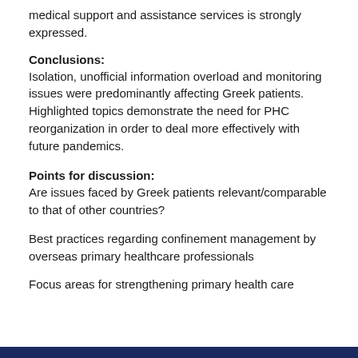medical support and assistance services is strongly expressed.
Conclusions:
Isolation, unofficial information overload and monitoring issues were predominantly affecting Greek patients. Highlighted topics demonstrate the need for PHC reorganization in order to deal more effectively with future pandemics.
Points for discussion:
Are issues faced by Greek patients relevant/comparable to that of other countries?
Best practices regarding confinement management by overseas primary healthcare professionals
Focus areas for strengthening primary health care